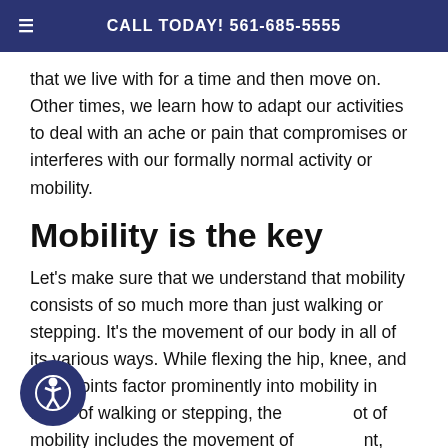CALL TODAY! 561-685-5555
that we live with for a time and then move on. Other times, we learn how to adapt our activities to deal with an ache or pain that compromises or interferes with our formally normal activity or mobility.
Mobility is the key
Let's make sure that we understand that mobility consists of so much more than just walking or stepping. It's the movement of our body in all of its various ways. While flexing the hip, knee, and ankle joints factor prominently into mobility in terms of walking or stepping, the concept of mobility includes the movement of every joint, tendon, or ligament – from our neck to our toes. As any movement becomes restricted,